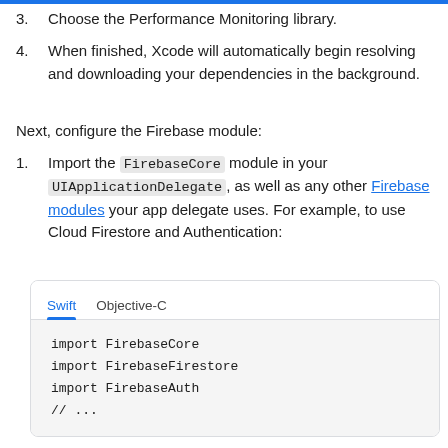3. Choose the Performance Monitoring library.
4. When finished, Xcode will automatically begin resolving and downloading your dependencies in the background.
Next, configure the Firebase module:
1. Import the FirebaseCore module in your UIApplicationDelegate, as well as any other Firebase modules your app delegate uses. For example, to use Cloud Firestore and Authentication:
[Figure (screenshot): Code block with Swift and Objective-C tabs. Swift tab is active. Code shown: import FirebaseCore, import FirebaseFirestore, import FirebaseAuth, // ...]